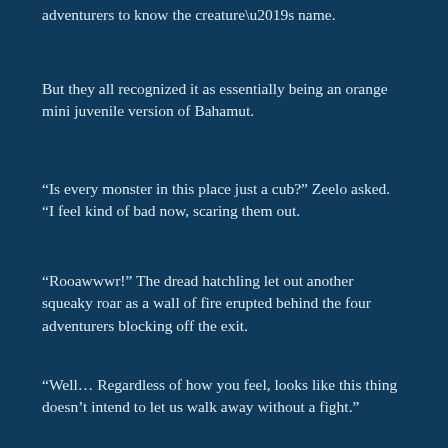adventurers to know the creature’s name.
But they all recognized it as essentially being an orange mini juvenile version of Bahamut.
“Is every monster in this place just a cub?” Zeelo asked. “I feel kind of bad now, scaring them out.
“Rooawwwr!” The dread hatchling let out another squeaky roar as a wall of fire erupted behind the four adventurers blocking off the exit.
“Well… Regardless of how you feel, looks like this thing doesn’t intend to let us walk away without a fight.”